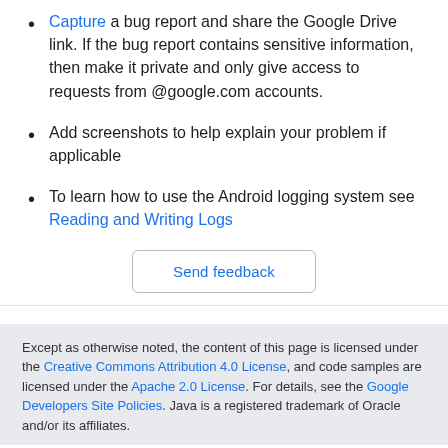Capture a bug report and share the Google Drive link. If the bug report contains sensitive information, then make it private and only give access to requests from @google.com accounts.
Add screenshots to help explain your problem if applicable
To learn how to use the Android logging system see Reading and Writing Logs
Send feedback
Except as otherwise noted, the content of this page is licensed under the Creative Commons Attribution 4.0 License, and code samples are licensed under the Apache 2.0 License. For details, see the Google Developers Site Policies. Java is a registered trademark of Oracle and/or its affiliates.